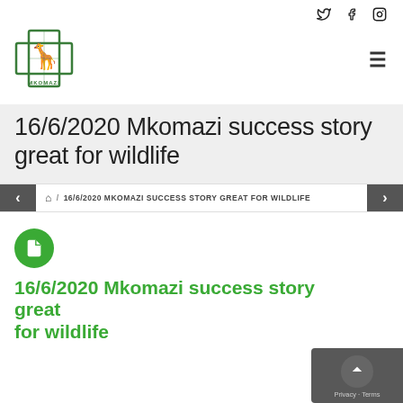[Figure (logo): Organization logo: green giraffe cross emblem with text]
16/6/2020 Mkomazi success story great for wildlife
🏠 / 16/6/2020 MKOMAZI SUCCESS STORY GREAT FOR WILDLIFE
[Figure (illustration): Green circle with document/page icon]
16/6/2020 Mkomazi success story great for wildlife